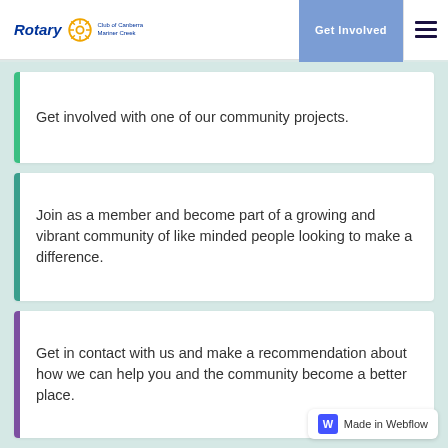Rotary Club of Canberra Mariner Creek | Get Involved
Get involved with one of our community projects.
Join as a member and become part of a growing and vibrant community of like minded people looking to make a difference.
Get in contact with us and make a recommendation about how we can help you and the community become a better place.
Made in Webflow